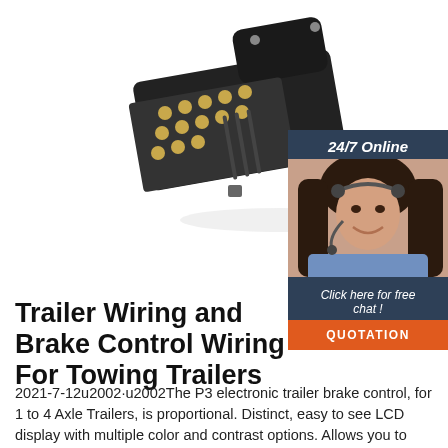[Figure (photo): Black multi-pin trailer connector/plug with gold-colored pins, shown at an angle on white background]
[Figure (photo): Woman with headset smiling, representing a 24/7 online chat support agent. Dark background panel with '24/7 Online' text, 'Click here for free chat!' and 'QUOTATION' button in orange.]
Trailer Wiring and Brake Control Wiring For Towing Trailers
2021-7-12u2002·u2002The P3 electronic trailer brake control, for 1 to 4 Axle Trailers, is proportional. Distinct, easy to see LCD display with multiple color and contrast options. Allows you to switch between Electric and Hydraulic brakes. Proportional brake keep you in the latest...